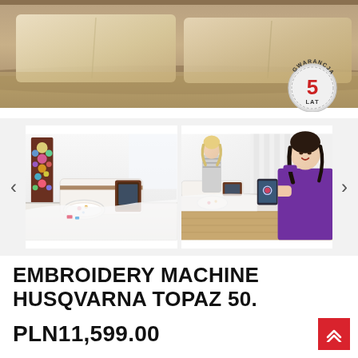[Figure (photo): Top hero image showing fabric/bedding in warm beige/brown tones with a 5-year warranty badge in the bottom right corner]
[Figure (photo): Gallery section with two photos side by side: left photo shows an embroidery sewing machine (Husqvarna Topaz 50) on a table with colorful embroidery; right photo shows two women smiling near the embroidery machine. Left and right navigation arrows flank the images.]
EMBROIDERY MACHINE HUSQVARNA TOPAZ 50.
PLN11,599.00